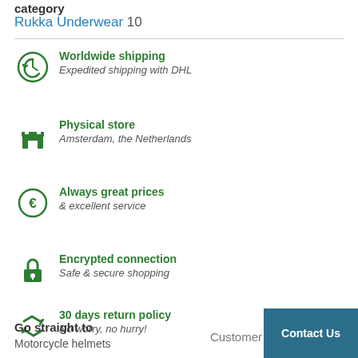category
Rukka Underwear 10
Worldwide shipping — Expedited shipping with DHL
Physical store — Amsterdam, the Netherlands
Always great prices — & excellent service
Encrypted connection — Safe & secure shopping
30 days return policy — No worry, no hurry!
Go straight to
Motorcycle helmets
Customer
Contact Us